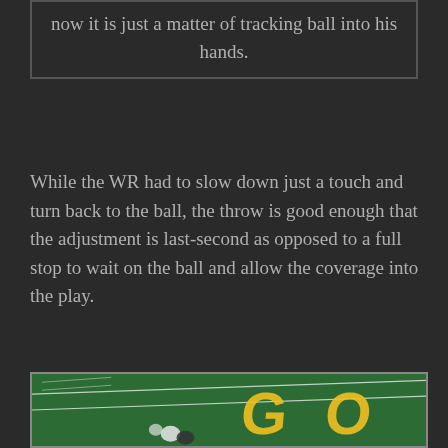now it is just a matter of tracking ball into his hands.
While the WR had to slow down just a touch and turn back to the ball, the throw is good enough that the adjustment is last-second as opposed to a full stop to wait on the ball and allow the coverage into the play.
[Figure (photo): Football game screenshot showing players on a green field with yellow 'GO' lettering on the turf, taken from an aerial/broadcast camera angle.]